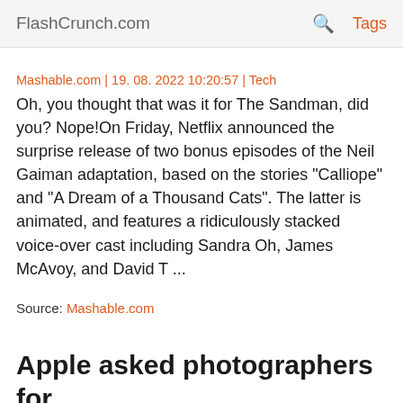FlashCrunch.com | Tags
Mashable.com | 19. 08. 2022 10:20:57 | Tech
Oh, you thought that was it for The Sandman, did you? Nope!On Friday, Netflix announced the surprise release of two bonus episodes of the Neil Gaiman adaptation, based on the stories "Calliope" and "A Dream of a Thousand Cats". The latter is animated, and features a ridiculously stacked voice-over cast including Sandra Oh, James McAvoy, and David T ...
Source: Mashable.com
Apple asked photographers for